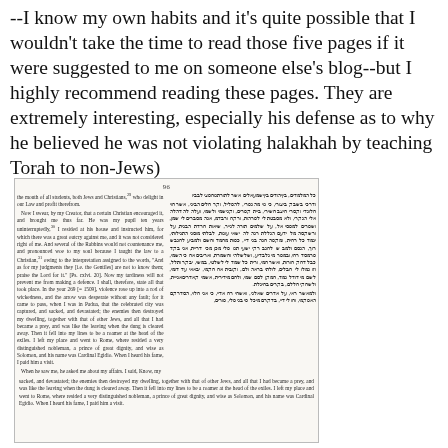--I know my own habits and it's quite possible that I wouldn't take the time to read those five pages if it were suggested to me on someone else's blog--but I highly recommend reading these pages. They are extremely interesting, especially his defense as to why he believed he was not violating halakhah by teaching Torah to non-Jews)
[Figure (photo): Scanned page 96 from a bilingual book showing English text on the left column and Hebrew text on the right column. The content describes a historical account involving a Christian student, Rabbis, and teaching Torah to non-Jews, referencing events in the year 269 (=1509) in Padua.]